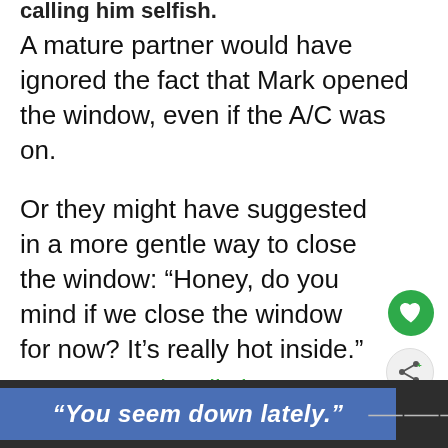calling him selfish.
A mature partner would have ignored the fact that Mark opened the window, even if the A/C was on.
Or they might have suggested in a more gentle way to close the window: “Honey, do you mind if we close the window for now? It’s really hot inside.”
For an emotionally immature partner, instead, everything has to be about th…
[Figure (screenshot): Green heart/favorite button (circle)]
[Figure (screenshot): Share button (circle with share icon)]
[Figure (infographic): What's Next card showing a photo and text: 'How to Tell if Someone...']
[Figure (screenshot): Bottom ad bar with blue banner reading '"You seem down lately."' and a logo on the right]